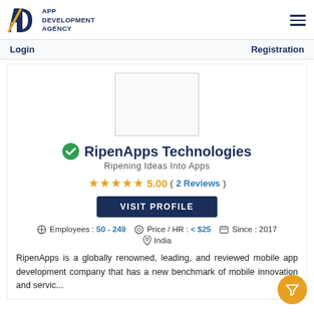APP DEVELOPMENT AGENCY
Login   Registration
[Figure (logo): App Development Agency logo with 'AD' initials and company name]
[Figure (photo): RipenApps Technologies company logo placeholder (empty box)]
RipenApps Technologies
Ripening Ideas Into Apps
5.00 ( 2 Reviews)
VISIT PROFILE
Employees : 50 - 249   Price / HR : < $25   Since : 2017
India
RipenApps is a globally renowned, leading, and reviewed mobile app development company that has a new benchmark of mobile innovation and servic...